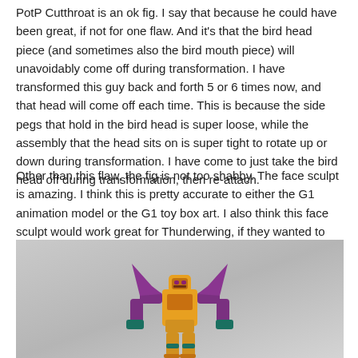PotP Cutthroat is an ok fig. I say that because he could have been great, if not for one flaw. And it's that the bird head piece (and sometimes also the bird mouth piece) will unavoidably come off during transformation. I have transformed this guy back and forth 5 or 6 times now, and that head will come off each time. This is because the side pegs that hold in the bird head is super loose, while the assembly that the head sits on is super tight to rotate up or down during transformation. I have come to just take the bird head off during transformation, then re-attach.
Other than this flaw, the fig is not too shabby. The face sculpt is amazing. I think this is pretty accurate to either the G1 animation model or the G1 toy box art. I also think this face sculpt would work great for Thunderwing, if they wanted to make a figure of him in PotP. The rest of the fig in robot form is well-proportioned.
[Figure (photo): Photo of PotP Cutthroat Transformers figure in robot form, yellow-orange with purple and teal accents, photographed against a grey gradient background.]